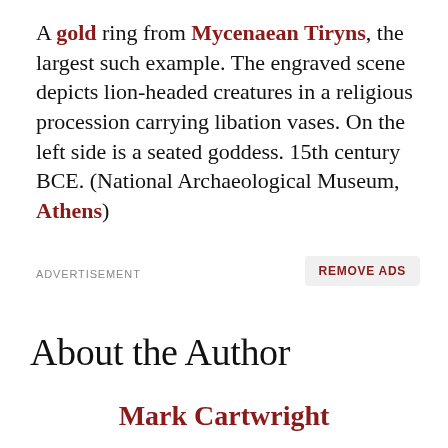A gold ring from Mycenaean Tiryns, the largest such example. The engraved scene depicts lion-headed creatures in a religious procession carrying libation vases. On the left side is a seated goddess. 15th century BCE. (National Archaeological Museum, Athens)
ADVERTISEMENT
REMOVE ADS
About the Author
Mark Cartwright